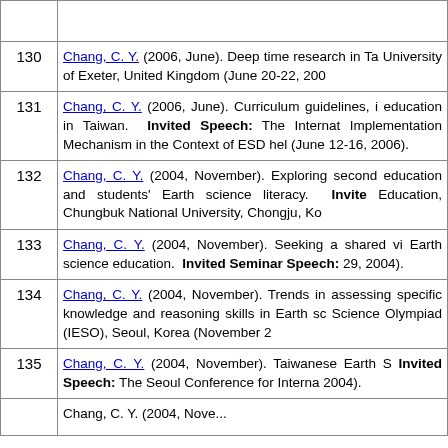| # | Reference |
| --- | --- |
| 130 | Chang, C. Y. (2006, June). Deep time research in Ta... University of Exeter, United Kingdom (June 20-22, 200... |
| 131 | Chang, C. Y. (2006, June). Curriculum guidelines, i... education in Taiwan. Invited Speech: The Internat... Implementation Mechanism in the Context of ESD hel... (June 12-16, 2006). |
| 132 | Chang, C. Y. (2004, November). Exploring second... education and students' Earth science literacy. Invite... Education, Chungbuk National University, Chongju, Ko... |
| 133 | Chang, C. Y. (2004, November). Seeking a shared vi... Earth science education. Invited Seminar Speech:... 29, 2004). |
| 134 | Chang, C. Y. (2004, November). Trends in assessing... specific knowledge and reasoning skills in Earth sc... Science Olympiad (IESO), Seoul, Korea (November 2... |
| 135 | Chang, C. Y. (2004, November). Taiwanese Earth S... Invited Speech: The Seoul Conference for Interna... 2004). |
| 136 | Chang, C. Y. (2004, Novem...). Assessing... |